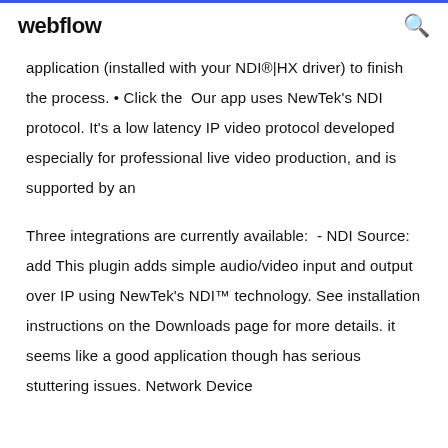webflow
application (installed with your NDI®|HX driver) to finish the process. • Click the  Our app uses NewTek's NDI protocol. It's a low latency IP video protocol developed especially for professional live video production, and is supported by an
Three integrations are currently available:  - NDI Source: add This plugin adds simple audio/video input and output over IP using NewTek's NDI™ technology. See installation instructions on the Downloads page for more details. it seems like a good application though has serious stuttering issues. Network Device Interface (NDI) is a royalty-free software standard